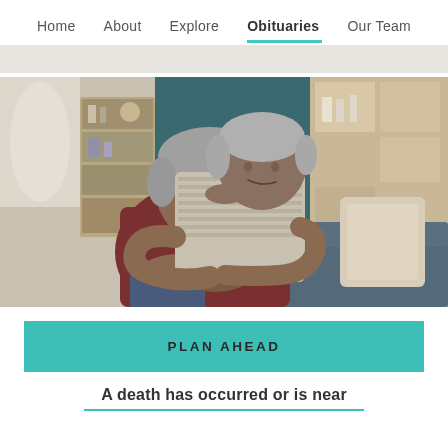Home  About  Explore  Obituaries  Our Team
[Figure (photo): An older couple sitting on a couch; a woman with short gray hair hugging a man with gray hair and a mustache from behind, smiling warmly. Indoor setting with shelving and furniture in the background.]
PLAN AHEAD
A death has occurred or is near